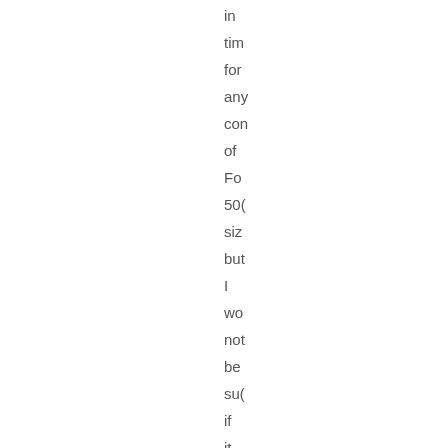in

tim

for

any

con

of

Fo

50(

siz

but

I

wo

not

be

su(

if

it

is